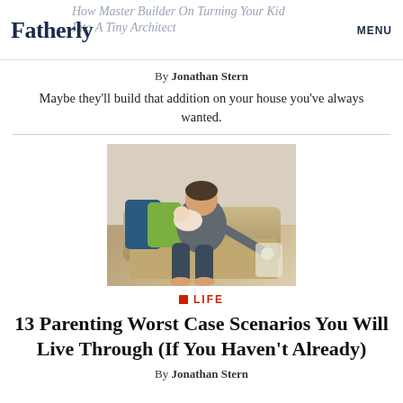Fatherly | MENU | How Master Builder On Turning Your Kid Into A Tiny Architect
By Jonathan Stern
Maybe they'll build that addition on your house you've always wanted.
[Figure (photo): A man sitting on a beige sofa holding a baby, with colorful pillows behind him, wearing a grey shirt and dark shorts, barefoot, looking tired.]
LIFE
13 Parenting Worst Case Scenarios You Will Live Through (If You Haven't Already)
By Jonathan Stern